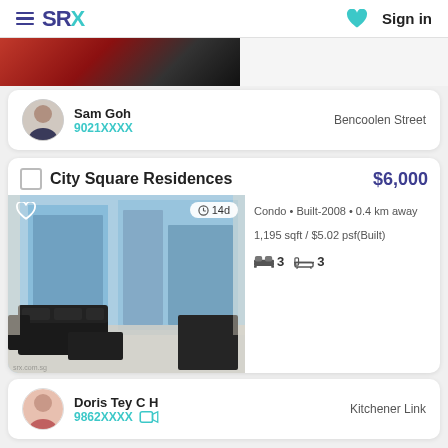SRX | Sign in
[Figure (photo): Partial view of a bedroom with red bedding, cropped at top of page]
Sam Goh
9021XXXX
Bencoolen Street
City Square Residences $6,000
[Figure (photo): Interior photo of a living room with black sofa, coffee table, and floor-to-ceiling windows showing city view. Badge shows: 14d]
Condo • Built-2008 • 0.4 km away
1,195 sqft / $5.02 psf(Built)
Beds: 3  Baths: 3
Doris Tey C H
9862XXXX
Kitchener Link